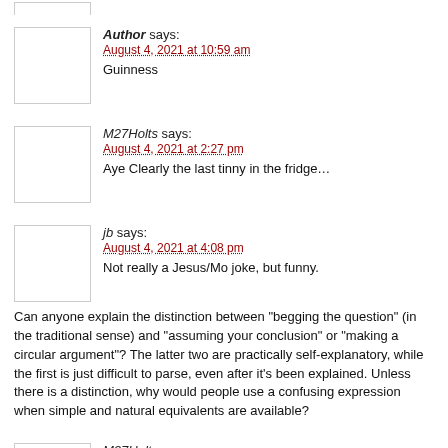[Figure (other): Avatar placeholder image (top, partial)]
Author says:
August 4, 2021 at 10:59 am

Guinness
M27Holts says:
August 4, 2021 at 2:27 pm

Aye Clearly the last tinny in the fridge…
jb says:
August 4, 2021 at 4:08 pm

Not really a Jesus/Mo joke, but funny.

Can anyone explain the distinction between "begging the question" (in the traditional sense) and "assuming your conclusion" or "making a circular argument"? The latter two are practically self-explanatory, while the first is just difficult to parse, even after it's been explained. Unless there is a distinction, why would people use a confusing expression when simple and natural equivalents are available?
M27Holts says:
August 4, 2021 at 4:26 pm